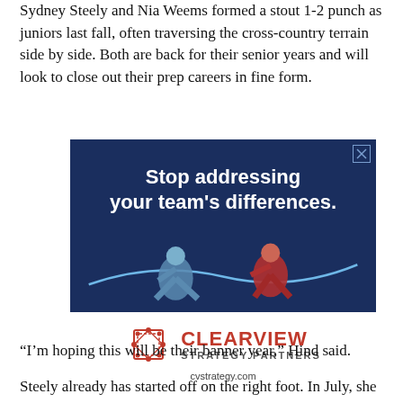Sydney Steely and Nia Weems formed a stout 1-2 punch as juniors last fall, often traversing the cross-country terrain side by side. Both are back for their senior years and will look to close out their prep careers in fine form.
[Figure (illustration): Advertisement for Clearview Strategy Partners on a dark blue background showing two illustrated figures pulling a glowing rope in opposite directions. Text reads 'Stop addressing your team's differences.' Below the ad image is the Clearview Strategy Partners logo with a geometric diamond-shaped icon and website cvstrategy.com.]
“I’m hoping this will be their banner year,” Hind said.
Steely already has started off on the right foot. In July, she